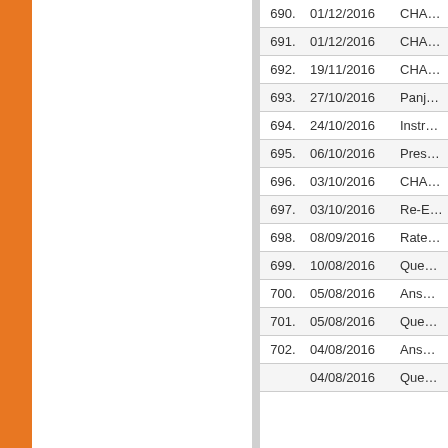| No. | Date | Title |
| --- | --- | --- |
| 690. | 01/12/2016 | CHANGE in Semester Ex... |
| 691. | 01/12/2016 | CHANGE in (December-2... |
| 692. | 19/11/2016 | CHANGE in Examination... |
| 693. | 27/10/2016 | Panjab Unive... |
| 694. | 24/10/2016 | Instructions I... |
| 695. | 06/10/2016 | Press Relea... |
| 696. | 03/10/2016 | CHANGE of Supplementa... |
| 697. | 03/10/2016 | Re-Examina... & Mkt. Rese... |
| 698. | 08/09/2016 | Rates of Exa... Structure |
| 699. | 10/08/2016 | Question Bo... |
| 700. | 05/08/2016 | Answer Key... |
| 701. | 05/08/2016 | Question Bo... |
| 702. | 04/08/2016 | Answer Key... |
|  | 04/08/2016 | Question Bo... |